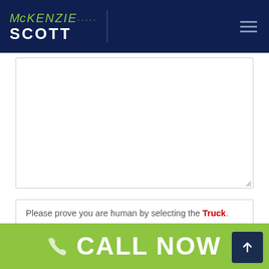[Figure (logo): McKenzie Scott law firm logo with green and white text on dark navy header, with hamburger menu icon]
[Figure (screenshot): Empty white textarea form field with resize handle in bottom-right corner]
Please prove you are human by selecting the Truck.
[Figure (infographic): CAPTCHA widget with three icons: a car, a flag, and a truck, for human verification]
CALL NOW